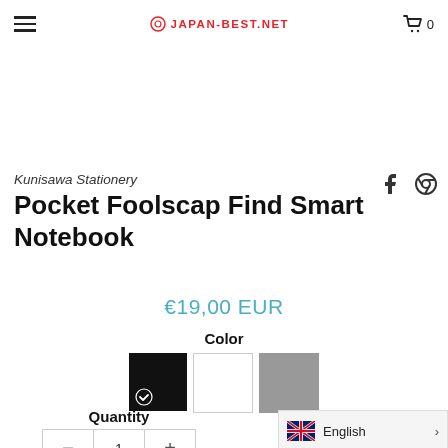≡ JAPAN-BEST.NET 🛒 0
Kunisawa Stationery
Pocket Foolscap Find Smart Notebook
€19,00 EUR
Color
Quantity
1
English